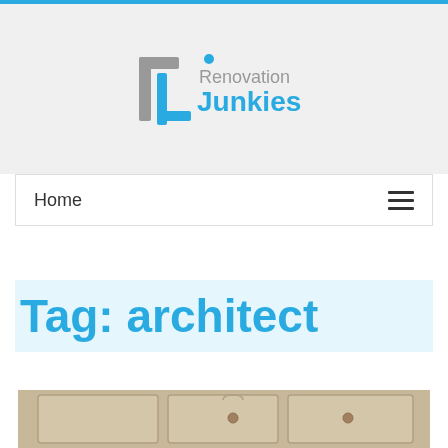[Figure (logo): Renovation Junkies logo with stylized R/J bracket icon in blue and gray, with text 'Renovation Junkies']
Home
Tag: architect
[Figure (photo): Partial view of architectural detail or cabinet hardware in golden/beige tones, cropped at bottom of page]